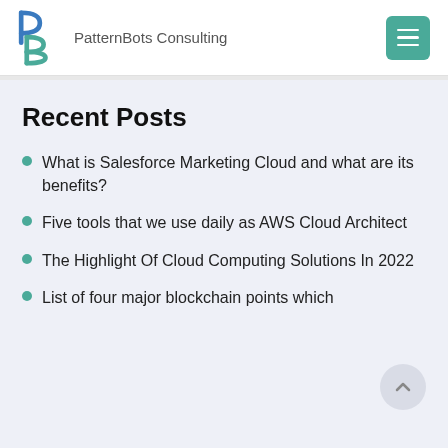PatternBots Consulting
Recent Posts
What is Salesforce Marketing Cloud and what are its benefits?
Five tools that we use daily as AWS Cloud Architect
The Highlight Of Cloud Computing Solutions In 2022
List of four major blockchain points which